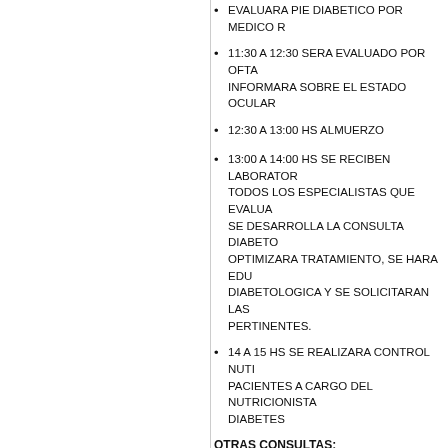EVALUARA PIE DIABETICO POR MEDICO R...
11:30 A 12:30 SERA EVALUADO POR OFTA... INFORMARA SOBRE EL ESTADO OCULAR
12:30 A 13:00 HS ALMUERZO
13:00 A 14:00 HS SE RECIBEN LABORATOR... TODOS LOS ESPECIALISTAS QUE EVALUA... SE DESARROLLA LA CONSULTA DIABETO... OPTIMIZARA TRATAMIENTO, SE HARA EDU... DIABETOLOGICA Y SE SOLICITARAN LAS... PERTINENTES.
14 A 15 HS SE REALIZARA CONTROL NUTI... PACIENTES A CARGO DEL NUTRICIONISTA... DIABETES
OTRAS CONSULTAS:
OTRAS CONSULTAS INCLUIRAN AL NEURO... TRAUMATOLOGO, PSIQUIATRA, CIRUJANO... NEFROLOGO.
15:00 HSSE REALIZARA UN A BREVE CHA... DE EDUCACION DIABETOLOGICA
EL PACIENTE SE RETIRA CON UN INFORME DE...